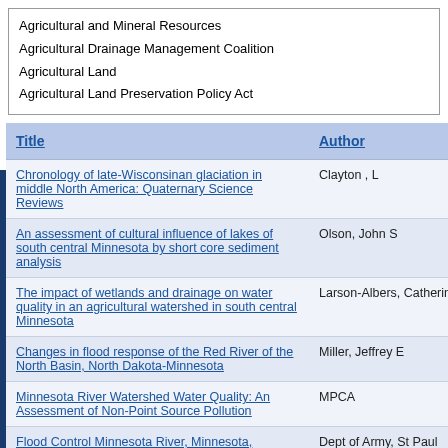Agricultural and Mineral Resources
Agricultural Drainage Management Coalition
Agricultural Land
Agricultural Land Preservation Policy Act
| Title | Author |
| --- | --- |
| Chronology of late-Wisconsinan glaciation in middle North America: Quaternary Science Reviews | Clayton , L |
| An assessment of cultural influence of lakes of south central Minnesota by short core sediment analysis | Olson, John S |
| The impact of wetlands and drainage on water quality in an agricultural watershed in south central Minnesota | Larson-Albers, Catherine E |
| Changes in flood response of the Red River of the North Basin, North Dakota-Minnesota | Miller, Jeffrey E |
| Minnesota River Watershed Water Quality: An Assessment of Non-Point Source Pollution | MPCA |
| Flood Control Minnesota River, Minnesota, Mankato-North Mankato- Le Hiller: Final supplement II-B to the final environmental impact statement for bridge relocations: Main Street Trunk Highway 60 bridge over the Minnesota River between mankato and North Ma | Dept of Army, St Paul District, Corps of Engineers |